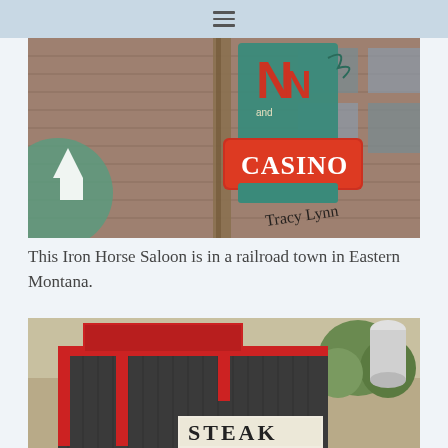≡
[Figure (photo): Photo of Iron Horse Saloon and Casino sign on a brick building in Eastern Montana railroad town. Teal and red neon sign reading 'and CASINO'. Script signature 'Tracy Lynn' in lower right.]
This Iron Horse Saloon is in a railroad town in Eastern Montana.
[Figure (photo): Photo of a dark corrugated metal building with red trim and a sign reading 'STEAK', with trees in the background.]